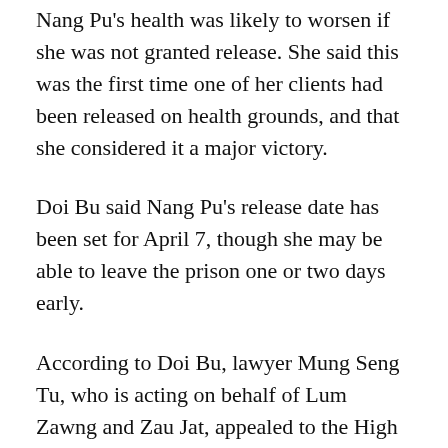Nang Pu's health was likely to worsen if she was not granted release. She said this was the first time one of her clients had been released on health grounds, and that she considered it a major victory.
Doi Bu said Nang Pu's release date has been set for April 7, though she may be able to leave the prison one or two days early.
According to Doi Bu, lawyer Mung Seng Tu, who is acting on behalf of Lum Zawng and Zau Jat, appealed to the High Court against the sentences given to his clients on the grounds that they were innocent. He would now lodge an appeal at the Supreme Court in Nay Pyi Taw, she said.
Criminal defamation charges against the three activists were sought by army Lieutenant Colonel...